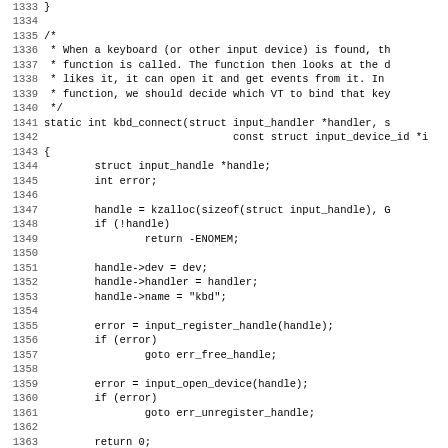Source code listing lines 1333–1365, showing kbd_connect function in C